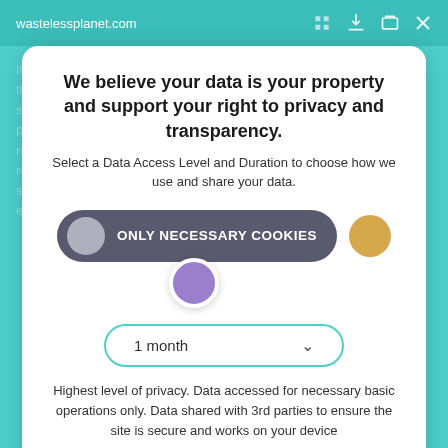wastelessplanet.com
We believe your data is your property and support your right to privacy and transparency.
Select a Data Access Level and Duration to choose how we use and share your data.
[Figure (infographic): A toggle/slider UI showing 'ONLY NECESSARY COOKIES' option selected, with a grey circle on the left of the pill, a golden/yellow circle on the right, and a purple dot below indicating the slider position.]
[Figure (infographic): A dropdown selector showing '1 month' with a chevron arrow.]
Highest level of privacy. Data accessed for necessary basic operations only. Data shared with 3rd parties to ensure the site is secure and works on your device
Save my preferences